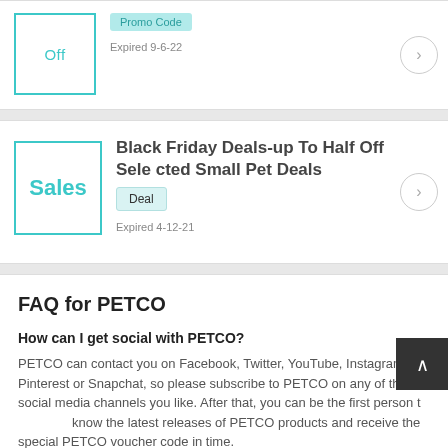Off
Promo Code
Expired 9-6-22
Black Friday Deals-up To Half Off Selected Small Pet Deals
Deal
Expired 4-12-21
FAQ for PETCO
How can I get social with PETCO?
PETCO can contact you on Facebook, Twitter, YouTube, Instagram, Pinterest or Snapchat, so please subscribe to PETCO on any of these social media channels you like. After that, you can be the first person to know the latest releases of PETCO products and receive the special PETCO voucher code in time.
Does PETCO have a discount for new customer?
Yes. In order to increase brand exposure, PETCO has specially